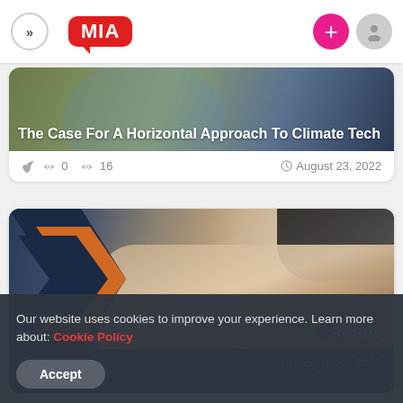MIA (navigation header with logo, add button, and profile button)
The Case For A Horizontal Approach To Climate Tech
0  16  August 23, 2022
[Figure (photo): Business person writing on paper with chart documents, financial analysis scene with orange chevron branding element]
10. Fascination...  Realize  August 22, 2022
Our website uses cookies to improve your experience. Learn more about: Cookie Policy
Accept